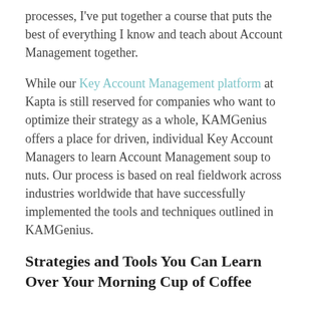processes, I've put together a course that puts the best of everything I know and teach about Account Management together.
While our Key Account Management platform at Kapta is still reserved for companies who want to optimize their strategy as a whole, KAMGenius offers a place for driven, individual Key Account Managers to learn Account Management soup to nuts. Our process is based on real fieldwork across industries worldwide that have successfully implemented the tools and techniques outlined in KAMGenius.
Strategies and Tools You Can Learn Over Your Morning Cup of Coffee